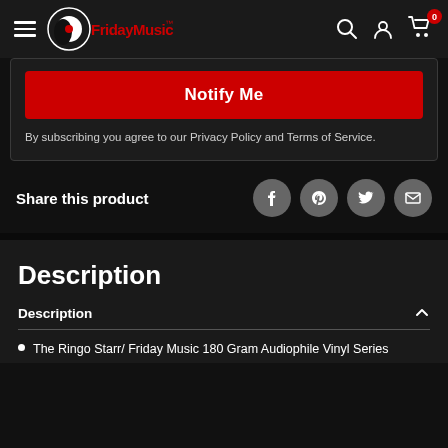[Figure (screenshot): FridayMusic website header with hamburger menu, FridayMusic logo, search icon, account icon, and cart icon with badge showing 0]
Notify Me
By subscribing you agree to our Privacy Policy and Terms of Service.
Share this product
Description
Description
The Ringo Starr/ Friday Music 180 Gram Audiophile Vinyl Series